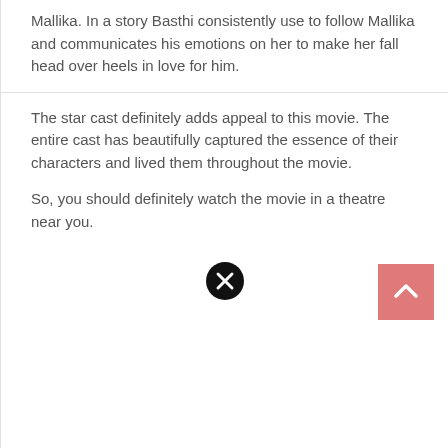Mallika. In a story Basthi consistently use to follow Mallika and communicates his emotions on her to make her fall head over heels in love for him.
The star cast definitely adds appeal to this movie. The entire cast has beautifully captured the essence of their characters and lived them throughout the movie.
So, you should definitely watch the movie in a theatre near you.
[Figure (other): Close/dismiss button — black circle with white X]
[Figure (other): Scroll-to-top button — pink/salmon square with white upward chevron arrow]